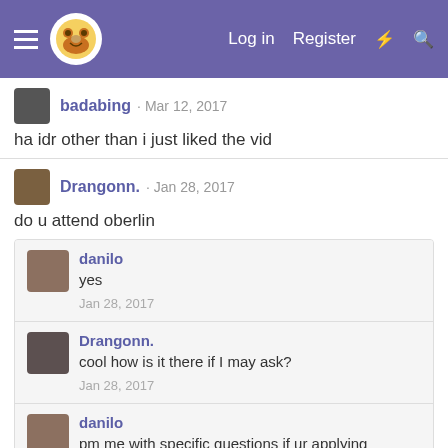Navigation bar with logo, Log in, Register links
badabing · Mar 12, 2017
ha idr other than i just liked the vid
Drangonn. · Jan 28, 2017
do u attend oberlin
danilo
yes
Jan 28, 2017
Drangonn.
cool how is it there if I may ask?
Jan 28, 2017
danilo
pm me with specific questions if ur applying
Jan 28, 2017